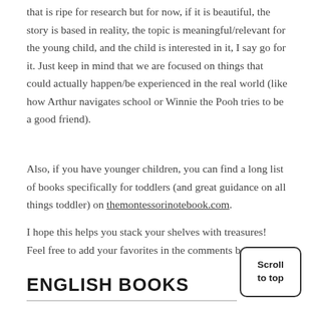that is ripe for research but for now, if it is beautiful, the story is based in reality, the topic is meaningful/relevant for the young child, and the child is interested in it, I say go for it. Just keep in mind that we are focused on things that could actually happen/be experienced in the real world (like how Arthur navigates school or Winnie the Pooh tries to be a good friend).
Also, if you have younger children, you can find a long list of books specifically for toddlers (and great guidance on all things toddler) on themontessorinotebook.com.
I hope this helps you stack your shelves with treasures! Feel free to add your favorites in the comments below.
ENGLISH BOOKS